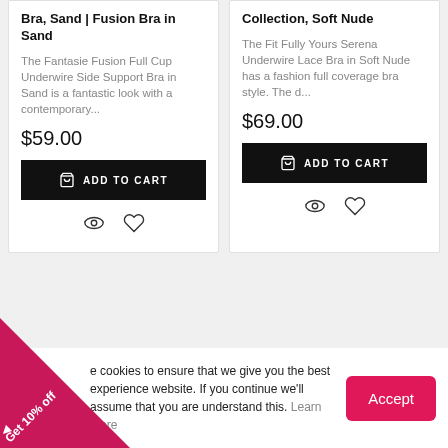Bra, Sand | Fusion Bra in Sand
The Fantasie Fusion Full Cup Underwire Side Support Bra in Sand is a fantastic look with a contemporary...
$59.00
Collection, Soft Nude
The Fit Fully Yours Serena Underwire Lace Bra in Soft Nude has a fashion full coverage bra style. The d...
$69.00
e cookies to ensure that we give you the best experience website. If you continue we'll assume that you are understand this. Learn more